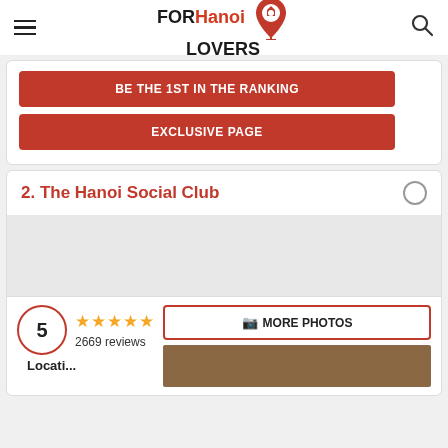FOR Hanoi LOVERS
BE THE 1ST IN THE RANKING
EXCLUSIVE PAGE
2. The Hanoi Social Club
[Figure (photo): Placeholder/empty image area for The Hanoi Social Club]
5 ★★★★★ 2669 reviews
MORE PHOTOS
[Figure (photo): Thumbnail photo of The Hanoi Social Club interior]
Locati...